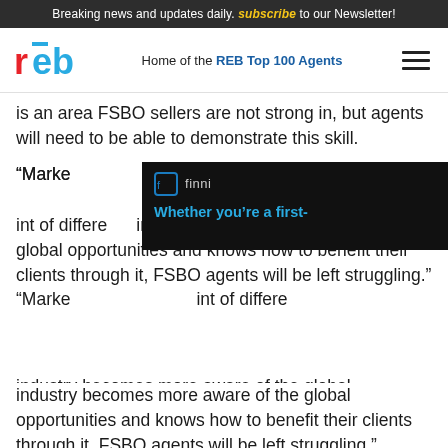Breaking news and updates daily. subscribe to our Newsletter!
[Figure (logo): REB logo - red and blue lettering with Home of the REB Top 100 Agents tagline and hamburger menu]
is an area FSBO sellers are not strong in, but agents will need to be able to demonstrate this skill.
“Marketing… [ad overlay] …point of difference… industry becomes more aware of the global opportunities and knows how to benefit their clients through it, FSBO agents will be left struggling.”
[Figure (screenshot): Finni mortgage ad banner: dark background with finni logo, 'Whether you’re a first-' headline in blue text, and striped graphic on right]
Mr Heller also focused on the selling and buying process. “It’s still an involved process … as far as the paperwork and the financing and the disclosures go,” he said. “All the legal issues and the new laws that are always coming up – they still need agents to wade through all those issues.”
Being able to provide guidance and help through